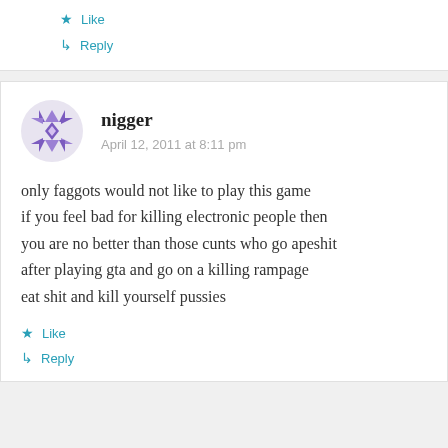Like
Reply
nigger
April 12, 2011 at 8:11 pm
only faggots would not like to play this game if you feel bad for killing electronic people then you are no better than those cunts who go apeshit after playing gta and go on a killing rampage eat shit and kill yourself pussies
Like
Reply